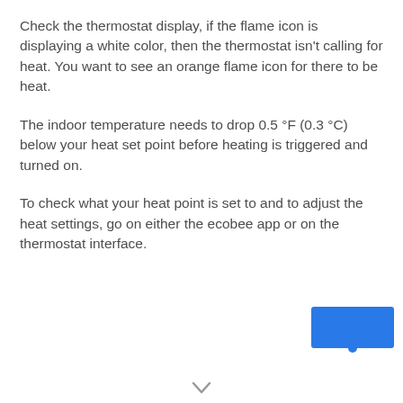Check the thermostat display, if the flame icon is displaying a white color, then the thermostat isn't calling for heat. You want to see an orange flame icon for there to be heat.
The indoor temperature needs to drop 0.5 °F (0.3 °C) below your heat set point before heating is triggered and turned on.
To check what your heat point is set to and to adjust the heat settings, go on either the ecobee app or on the thermostat interface.
[Figure (other): Blue rectangular button/widget in bottom-right corner with a small icon]